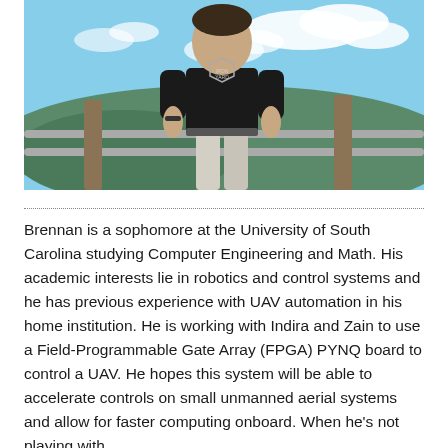[Figure (photo): Young man standing outdoors at a scenic overlook with mountains and blue sky in the background, wearing a black t-shirt with 'The Iron Yard' logo and light-colored pants.]
Brennan is a sophomore at the University of South Carolina studying Computer Engineering and Math. His academic interests lie in robotics and control systems and he has previous experience with UAV automation in his home institution. He is working with Indira and Zain to use a Field-Programmable Gate Array (FPGA) PYNQ board to control a UAV. He hopes this system will be able to accelerate controls on small unmanned aerial systems and allow for faster computing onboard. When he's not playing with